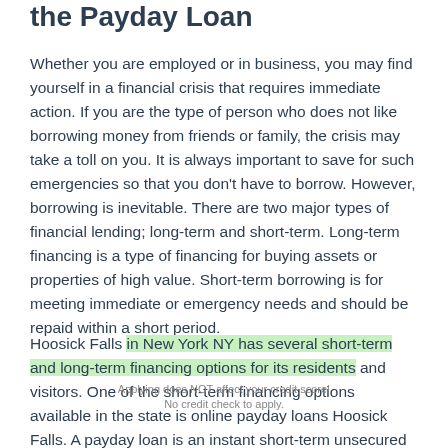the Payday Loan
Whether you are employed or in business, you may find yourself in a financial crisis that requires immediate action. If you are the type of person who does not like borrowing money from friends or family, the crisis may take a toll on you. It is always important to save for such emergencies so that you don't have to borrow. However, borrowing is inevitable. There are two major types of financial lending; long-term and short-term. Long-term financing is a type of financing for buying assets or properties of high value. Short-term borrowing is for meeting immediate or emergency needs and should be repaid within a short period.
Hoosick Falls in New York NY has several short-term and long-term financing options for its residents and visitors. One of the short-term financing options available in the state is online payday loans Hoosick Falls. A payday loan is an instant short-term unsecured credit that can help you